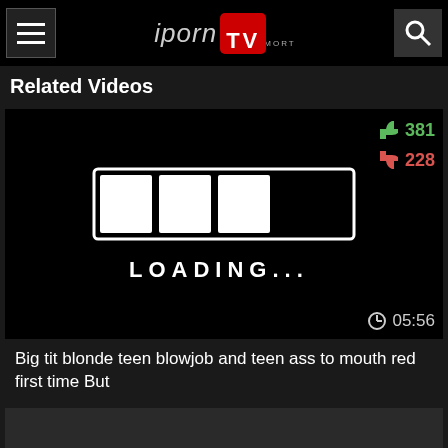iporn MORT TV
Related Videos
[Figure (screenshot): Video thumbnail showing a loading screen with progress bar and LOADING... text, with thumbs up rating 381 and thumbs down 228, duration 05:56]
Big tit blonde teen blowjob and teen ass to mouth red first time But
[Figure (photo): Partial thumbnail of a second video at the bottom of the page]